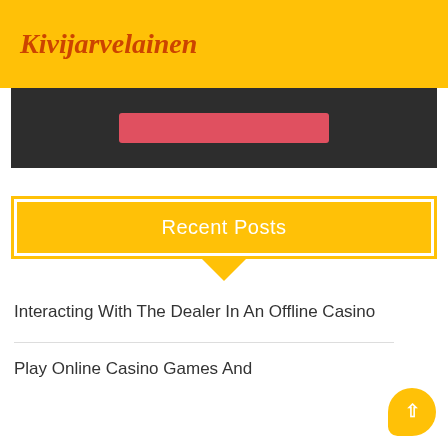Kivijarvelainen
[Figure (screenshot): Dark banner with a red/pink rectangular button in the center]
Recent Posts
Interacting With The Dealer In An Offline Casino
Play Online Casino Games And